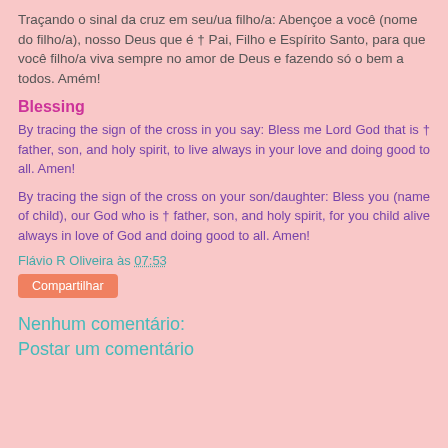Traçando o sinal da cruz em seu/ua filho/a: Abençoe a você (nome do filho/a), nosso Deus que é † Pai, Filho e Espírito Santo, para que você filho/a viva sempre no amor de Deus e fazendo só o bem a todos. Amém!
Blessing
By tracing the sign of the cross in you say: Bless me Lord God that is † father, son, and holy spirit, to live always in your love and doing good to all. Amen!
By tracing the sign of the cross on your son/daughter: Bless you (name of child), our God who is † father, son, and holy spirit, for you child alive always in love of God and doing good to all. Amen!
Flávio R Oliveira às 07:53
Compartilhar
Nenhum comentário:
Postar um comentário